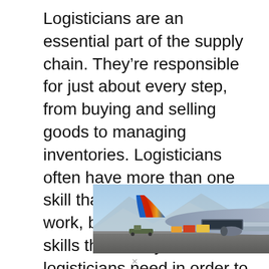Logisticians are an essential part of the supply chain. They're responsible for just about every step, from buying and selling goods to managing inventories. Logisticians often have more than one skill that's vital to their work, but there are a few skills that nearly all logisticians need in order to be successful. Here are some of the most important skills you'll need if you want to work in this field well:
[Figure (photo): A cargo aircraft being loaded on a tarmac with an advertisement overlay reading 'WITHOUT REGARD TO POLITICS, RELIGION, OR ABILITY TO PAY' on a gray banner]